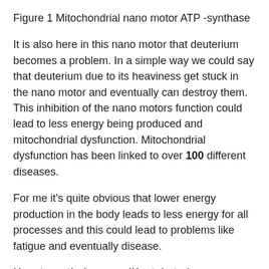Figure 1 Mitochondrial nano motor ATP -synthase
It is also here in this nano motor that deuterium becomes a problem. In a simple way we could say that deuterium due to its heaviness get stuck in the nano motor and eventually can destroy them. This inhibition of the nano motors function could lead to less energy being produced and mitochondrial dysfunction. Mitochondrial dysfunction has been linked to over 100 different diseases.
For me it’s quite obvious that lower energy production in the body leads to less energy for all processes and this could lead to problems like fatigue and eventually disease.
How to optimize your lifestyle to lower deuterium.
Luckily there are multiple of hacks and lifestyle changes that you can apply to lower your deuterium levels. The body does by itself detoxify deuterium and it also makes its own DDW in